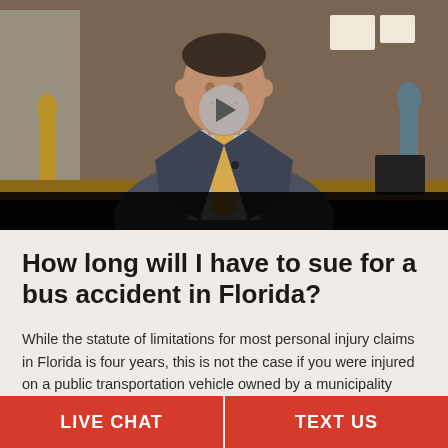[Figure (photo): Video thumbnail of a man in a dark suit with a yellow tie sitting in an office setting, with a play button overlay. Legal statues visible in the background.]
How long will I have to sue for a bus accident in Florida?
While the statute of limitations for most personal injury claims in Florida is four years, this is not the case if you were injured on a public transportation vehicle owned by a municipality
LIVE CHAT   TEXT US